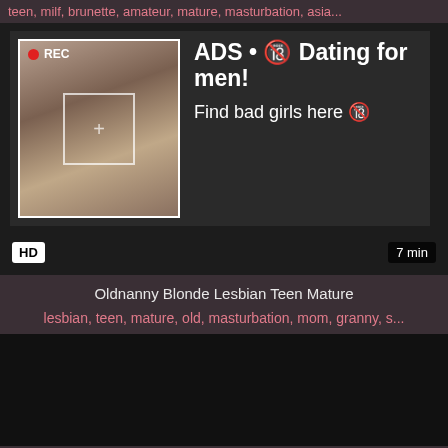teen, milf, brunette, amateur, mature, masturbation, asia...
[Figure (screenshot): Adult video thumbnail with REC indicator and dating advertisement overlay showing a woman taking a selfie, with text 'ADS • Dating for men! Find bad girls here']
HD | 7 min
Oldnanny Blonde Lesbian Teen Mature
lesbian, teen, mature, old, masturbation, mom, granny, s...
[Figure (screenshot): Dark/black video thumbnail placeholder]